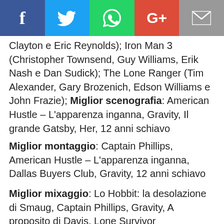[Figure (other): Social media sharing bar with Facebook, Twitter, WhatsApp, Google+, and email icons]
Clayton e Eric Reynolds); Iron Man 3 (Christopher Townsend, Guy Williams, Erik Nash e Dan Sudick); The Lone Ranger (Tim Alexander, Gary Brozenich, Edson Williams e John Frazie); Miglior scenografia: American Hustle – L'apparenza inganna, Gravity, Il grande Gatsby, Her, 12 anni schiavo
Miglior montaggio: Captain Phillips, American Hustle – L'apparenza inganna, Dallas Buyers Club, Gravity, 12 anni schiavo
Miglior mixaggio: Lo Hobbit: la desolazione di Smaug, Captain Phillips, Gravity, A proposito di Davis, Lone Survivor
Miglior montaggio sonoro: Gravity, All is lost, Captain